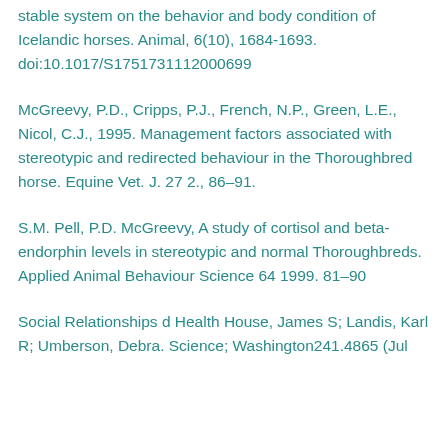...stable system on the behavior and body condition of Icelandic horses. Animal, 6(10), 1684-1693. doi:10.1017/S1751731112000699
McGreevy, P.D., Cripps, P.J., French, N.P., Green, L.E., Nicol, C.J., 1995. Management factors associated with stereotypic and redirected behaviour in the Thoroughbred horse. Equine Vet. J. 27 2., 86–91.
S.M. Pell, P.D. McGreevy, A study of cortisol and beta-endorphin levels in stereotypic and normal Thoroughbreds. Applied Animal Behaviour Science 64 1999. 81–90
Social Relationships d Health House, James S; Landis, Karl R; Umberson, Debra. Science; Washington241.4865 (Jul